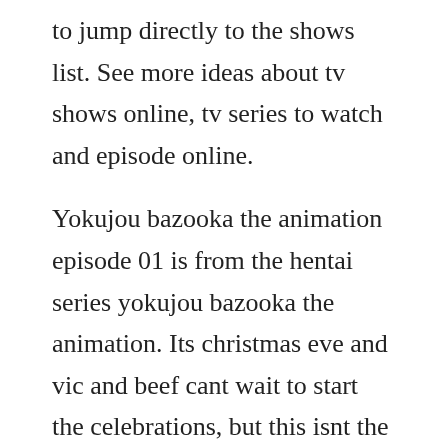to jump directly to the shows list. See more ideas about tv shows online, tv series to watch and episode online.
Yokujou bazooka the animation episode 01 is from the hentai series yokujou bazooka the animation. Its christmas eve and vic and beef cant wait to start the celebrations, but this isnt the case for poor bob whose festivities are cut short when the christmas present he organised for his sulky son erik catches fire. Tv broadcast took place after midnight, a few hours later. House of fools season 1 full episode online side...